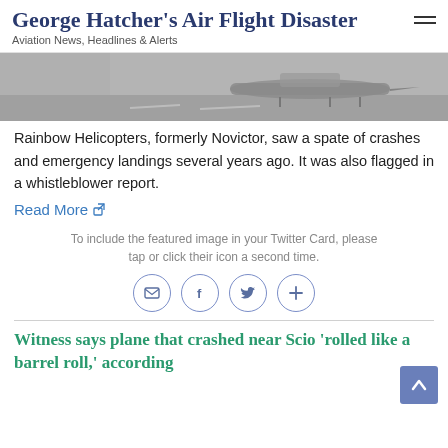George Hatcher's Air Flight Disaster
Aviation News, Headlines & Alerts
[Figure (photo): Grayscale/muted photo of an aircraft on a tarmac/runway.]
Rainbow Helicopters, formerly Novictor, saw a spate of crashes and emergency landings several years ago. It was also flagged in a whistleblower report.
Read More ↗
To include the featured image in your Twitter Card, please tap or click their icon a second time.
[Figure (infographic): Social share icons: email, Facebook, Twitter, and a plus/more button, each in a circular border.]
Witness says plane that crashed near Scio 'rolled like a barrel roll,' according